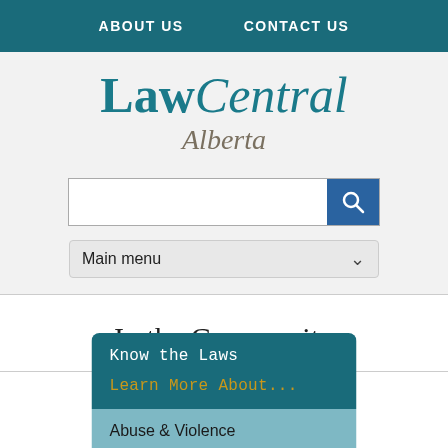ABOUT US   CONTACT US
[Figure (logo): LawCentral Alberta logo with stylized serif text]
Main menu
In the Community
Know the Laws
Learn More About...
Abuse & Violence